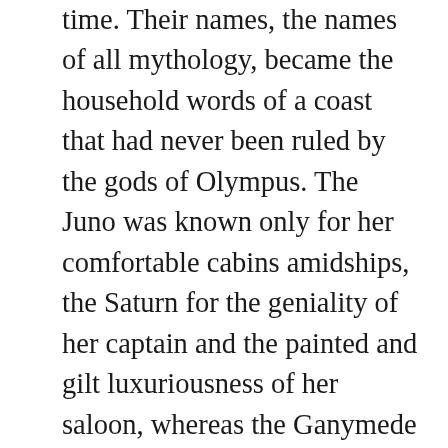time. Their names, the names of all mythology, became the household words of a coast that had never been ruled by the gods of Olympus. The Juno was known only for her comfortable cabins amidships, the Saturn for the geniality of her captain and the painted and gilt luxuriousness of her saloon, whereas the Ganymede was fitted out mainly for cattle transport, and to be avoided by coastwise passengers. The humblest Indian in the obscurest village on the coast was familiar with the Cerberus, a little black puffer without charm or living accommodation to speak of, whose mission was to creep inshore along the wooded beaches close to mighty ugly rocks, stopping